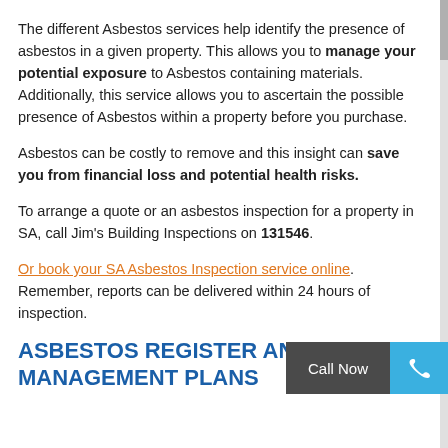The different Asbestos services help identify the presence of asbestos in a given property. This allows you to manage your potential exposure to Asbestos containing materials. Additionally, this service allows you to ascertain the possible presence of Asbestos within a property before you purchase.
Asbestos can be costly to remove and this insight can save you from financial loss and potential health risks.
To arrange a quote or an asbestos inspection for a property in SA, call Jim's Building Inspections on 131546.
Or book your SA Asbestos Inspection service online. Remember, reports can be delivered within 24 hours of inspection.
ASBESTOS REGISTER AND MANAGEMENT PLANS